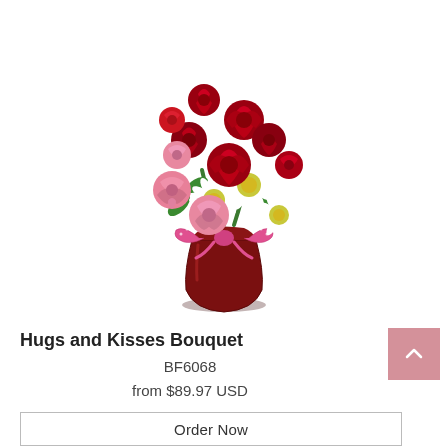[Figure (photo): A floral bouquet arrangement called Hugs and Kisses Bouquet, featuring red roses, white daisies, and pink carnations in a dark red vase with a pink polka-dot ribbon tied around it, displayed on a white background.]
Hugs and Kisses Bouquet
BF6068
from $89.97 USD
Order Now